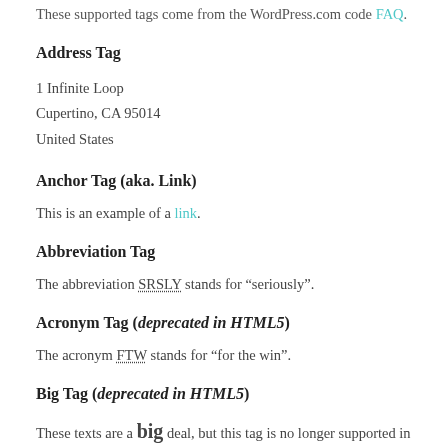These supported tags come from the WordPress.com code FAQ.
Address Tag
1 Infinite Loop
Cupertino, CA 95014
United States
Anchor Tag (aka. Link)
This is an example of a link.
Abbreviation Tag
The abbreviation SRSLY stands for “seriously”.
Acronym Tag (deprecated in HTML5)
The acronym FTW stands for “for the win”.
Big Tag (deprecated in HTML5)
These texts are a big deal, but this tag is no longer supported in